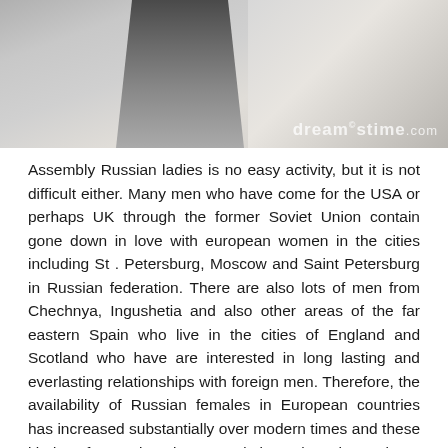[Figure (photo): Black and white photograph showing a partial figure of a person, with a Dreamstime watermark overlay in the lower right corner.]
Assembly Russian ladies is no easy activity, but it is not difficult either. Many men who have come for the USA or perhaps UK through the former Soviet Union contain gone down in love with european women in the cities including St . Petersburg, Moscow and Saint Petersburg in Russian federation. There are also lots of men from Chechnya, Ingushetia and also other areas of the far eastern Spain who live in the cities of England and Scotland who have are interested in long lasting and everlasting relationships with foreign men. Therefore, the availability of Russian females in European countries has increased substantially over modern times and these kinds of Russian internet dating sites have been extremely successful for anyone foreign men who wish to connect with beautiful Russian ladies.